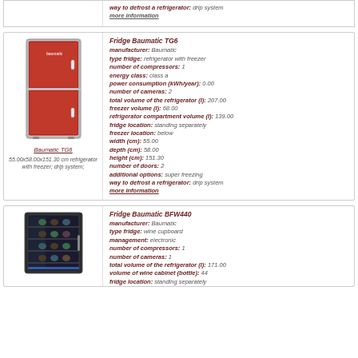way to defrost a refrigerator: drip system
more information
[Figure (photo): Red Baumatic TG6 refrigerator with freezer]
Baumatic TG6
55.00x58.00x151.30 cm refrigerator with freezer; drip system;
Fridge Baumatic TG6
manufacturer: Baumatic
type fridge: refrigerator with freezer
number of compressors: 1
energy class: class a
power consumption (kWh/year): 0.00
number of cameras: 2
total volume of the refrigerator (l): 207.00
freezer volume (l): 68.00
refrigerator compartment volume (l): 139.00
fridge location: standing separately
freezer location: below
width (cm): 55.00
depth (cm): 58.00
height (cm): 151.30
number of doors: 2
additional options: super freezing
way to defrost a refrigerator: drip system
more information
[Figure (photo): Black Baumatic BFW440 wine cabinet refrigerator]
Fridge Baumatic BFW440
manufacturer: Baumatic
type fridge: wine cupboard
management: electronic
number of compressors: 1
number of cameras: 1
total volume of the refrigerator (l): 171.00
volume of wine cabinet (bottle): 44
fridge location: standing separately